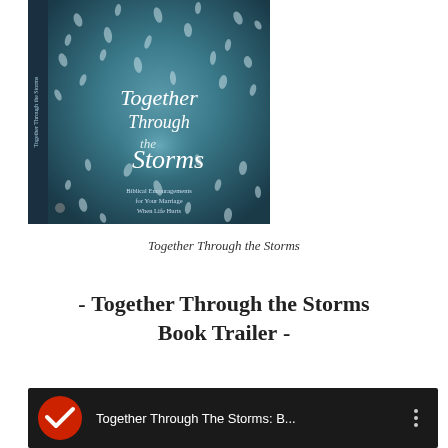[Figure (illustration): Book cover of 'Together Through the Storms' showing a teal/blue stormy background with rain drops or petals, white italic title text, subtitle 'Biblical Encouragements for Your Marriage When Life Hurts', and a vertical spine on the left.]
Together Through the Storms
- Together Through the Storms Book Trailer -
[Figure (screenshot): YouTube video thumbnail showing 'Together Through The Storms: B...' with a red circular play/check icon on the left and a three-dot menu icon on the right, dark background with a person visible below.]